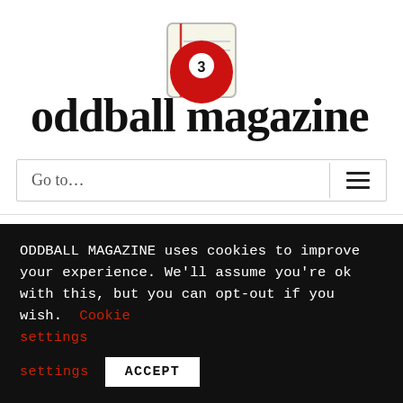[Figure (logo): Oddball Magazine logo: stylized text 'oddball magazine' with a red billiard ball (number 3) embedded in the middle, over a notepad graphic]
Go to...
Bethany Bruno is a born and raised Florida author of fiction, nonfiction, and poetry. She holds a BA in English from
ODDBALL MAGAZINE uses cookies to improve your experience. We'll assume you're ok with this, but you can opt-out if you wish. Cookie settings ACCEPT